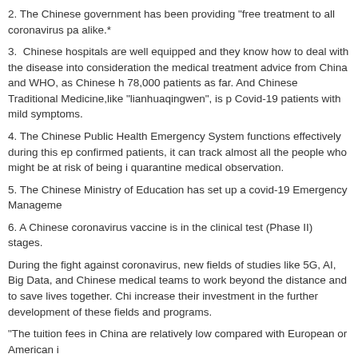2. The Chinese government has been providing "free treatment to all coronavirus pa alike.*
3. Chinese hospitals are well equipped and they know how to deal with the disease into consideration the medical treatment advice from China and WHO, as Chinese h 78,000 patients as far. And Chinese Traditional Medicine,like "lianhuaqingwen", is p Covid-19 patients with mild symptoms.
4. The Chinese Public Health Emergency System functions effectively during this ep confirmed patients, it can track almost all the people who might be at risk of being i quarantine medical observation.
5. The Chinese Ministry of Education has set up a covid-19 Emergency Manageme
6. A Chinese coronavirus vaccine is in the clinical test (Phase II) stages.
During the fight against coronavirus, new fields of studies like 5G, AI, Big Data, and Chinese medical teams to work beyond the distance and to save lives together. Chi increase their investment in the further development of these fields and programs.
“The tuition fees in China are relatively low compared with European or American i
Chinese universities keep taking international recruitment and international educatio communication rather than a business.
For this reason, the tuition fees in Hello, how can we help you?